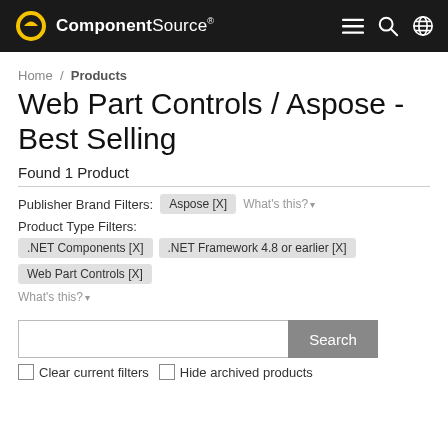ComponentSource
Home / Products
Web Part Controls / Aspose - Best Selling
Found 1 Product
Publisher Brand Filters: Aspose [X]  What's this?
Product Type Filters:
.NET Components [X]  .NET Framework 4.8 or earlier [X]  Web Part Controls [X]  What's this?
Search
Clear current filters  Hide archived products